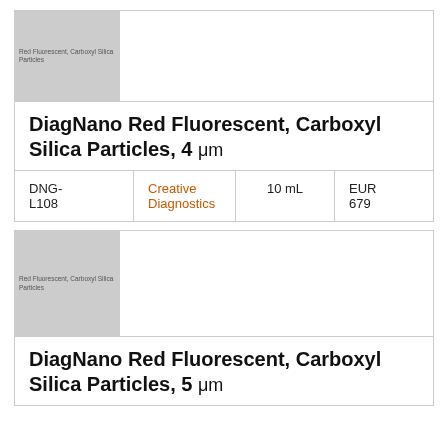[Figure (photo): Product image placeholder for DiagNano Red Fluorescent Carboxyl Silica Particles 4 µm, grey box with text 'Red Fluorescent, Carboxyl Silica Particles']
DiagNano Red Fluorescent, Carboxyl Silica Particles, 4 μm
| Catalog | Supplier | Size | Price |
| --- | --- | --- | --- |
| DNG-L108 | Creative Diagnostics | 10 mL | EUR 679 |
[Figure (photo): Product image placeholder for DiagNano Red Fluorescent Carboxyl Silica Particles 5 µm, grey box with text 'Red Fluorescent, Carboxyl Silica Particles']
DiagNano Red Fluorescent, Carboxyl Silica Particles, 5 μm